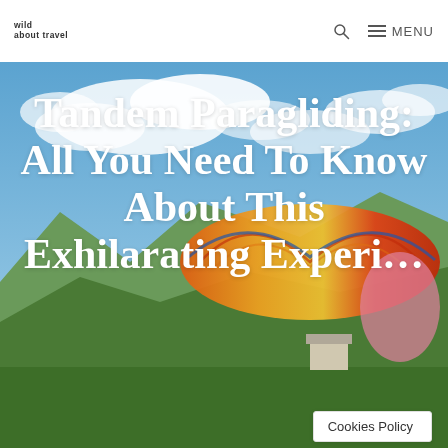wild about travel | MENU
[Figure (photo): Aerial photo showing a colorful paraglider canopy (orange, red, yellow) against a backdrop of alpine mountains with green slopes and a partly cloudy blue sky.]
Tandem Paragliding: All You Need To Know About This Exhilarating Experi…
Cookies Policy